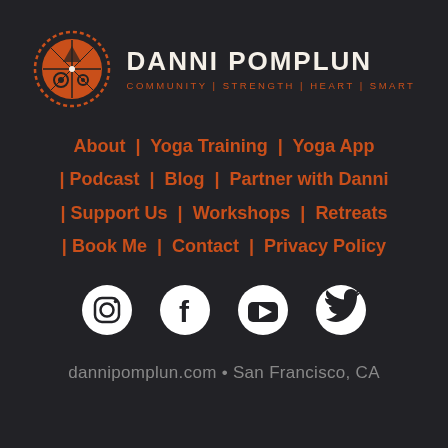[Figure (logo): Danni Pomplun logo with circular orange compass/target icon and text DANNI POMPLUN with tagline COMMUNITY | STRENGTH | HEART | SMART]
About  |  Yoga Training  |  Yoga App  |  Podcast  |  Blog  |  Partner with Danni  |  Support Us  |  Workshops  |  Retreats  |  Book Me  |  Contact  |  Privacy Policy
[Figure (infographic): Social media icons row: Instagram, Facebook, YouTube, Twitter — white icons on dark background]
dannipomplun.com • San Francisco, CA